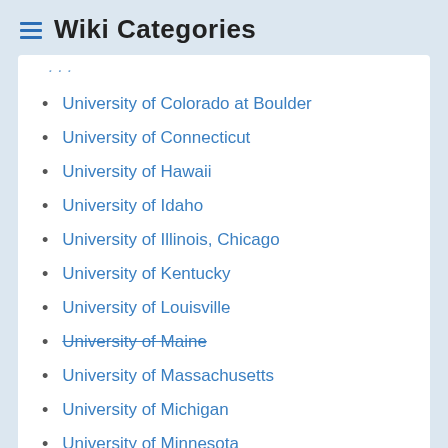Wiki Categories
University of Colorado at Boulder
University of Connecticut
University of Hawaii
University of Idaho
University of Illinois, Chicago
University of Kentucky
University of Louisville
University of Maine (strikethrough)
University of Massachusetts
University of Michigan
University of Minnesota
University of New Hampshire (strikethrough)
University of Northern Iowa
University of Oklahoma (strikethrough)
University of South Carolina (partial, cut off)